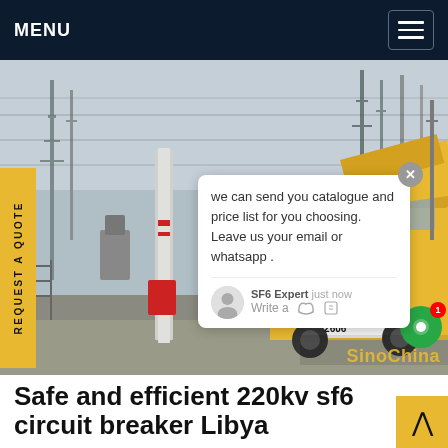MENU
[Figure (photo): Yellow Isuzu truck/crane vehicle parked at an electrical substation with high-voltage transmission towers and equipment in the background. License plate IA V2606.]
REQUEST A QUOTE
we can send you catalogue and price list for you choosing. Leave us your email or whatsapp . SF6 Expert  just now  Write a
SinoChina
Safe and efficient 220kv sf6 circuit breaker Libya
20/3/2013The working of Sulfr hexafluoride CB of first